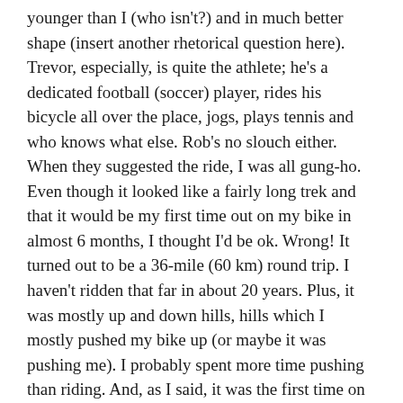younger than I (who isn't?) and in much better shape (insert another rhetorical question here). Trevor, especially, is quite the athlete; he's a dedicated football (soccer) player, rides his bicycle all over the place, jogs, plays tennis and who knows what else. Rob's no slouch either. When they suggested the ride, I was all gung-ho. Even though it looked like a fairly long trek and that it would be my first time out on my bike in almost 6 months, I thought I'd be ok. Wrong! It turned out to be a 36-mile (60 km) round trip. I haven't ridden that far in about 20 years. Plus, it was mostly up and down hills, hills which I mostly pushed my bike up (or maybe it was pushing me). I probably spent more time pushing than riding. And, as I said, it was the first time on the bike in quite a while, so my muscles were sorely taxed by the end of the ride. I'm still recuperating.
However, it was fun for the most part and the...